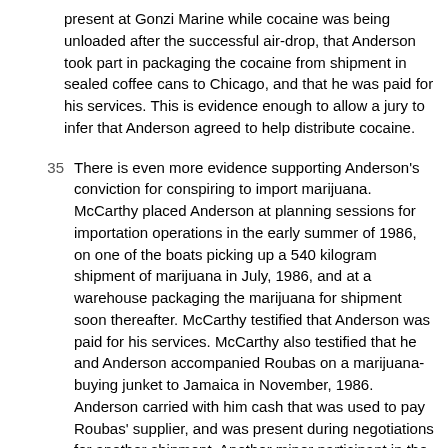present at Gonzi Marine while cocaine was being unloaded after the successful air-drop, that Anderson took part in packaging the cocaine from shipment in sealed coffee cans to Chicago, and that he was paid for his services. This is evidence enough to allow a jury to infer that Anderson agreed to help distribute cocaine.
35  There is even more evidence supporting Anderson's conviction for conspiring to import marijuana. McCarthy placed Anderson at planning sessions for importation operations in the early summer of 1986, on one of the boats picking up a 540 kilogram shipment of marijuana in July, 1986, and at a warehouse packaging the marijuana for shipment soon thereafter. McCarthy testified that Anderson was paid for his services. McCarthy also testified that he and Anderson accompanied Roubas on a marijuana-buying junket to Jamaica in November, 1986. Anderson carried with him cash that was used to pay Roubas' supplier, and was present during negotiations for another shipment. Another minor participant in the conspiracy, Randy Friedl, testified that Anderson was a "security guy" for the drug ring. Yet another participant in the conspiracy, James Brandt, testified that Anderson was involved in another importation episode in February or March of 1987. Brandt said that Anderson was with him on the beach during marijuana pick-up operations. Brandt also testified that Anderson supervised the